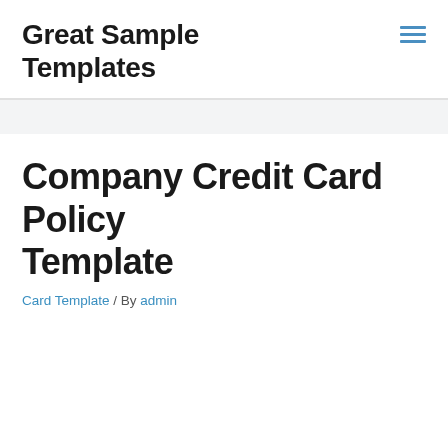Great Sample Templates
Company Credit Card Policy Template
Card Template / By admin